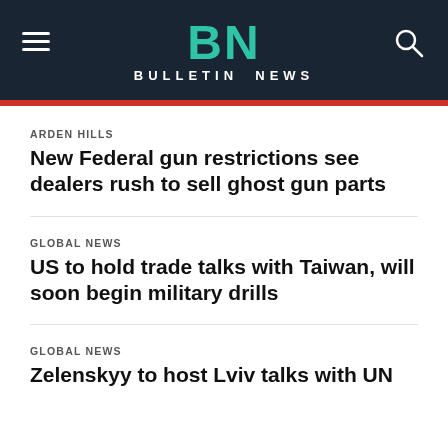BN BULLETIN NEWS
ARDEN HILLS
New Federal gun restrictions see dealers rush to sell ghost gun parts
GLOBAL NEWS
US to hold trade talks with Taiwan, will soon begin military drills
GLOBAL NEWS
Zelenskyy to host Lviv talks with UN chief and Turkish leader